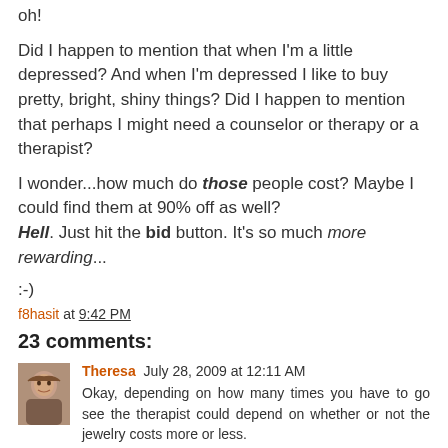oh!
Did I happen to mention that when I'm a little depressed? And when I'm depressed I like to buy pretty, bright, shiny things? Did I happen to mention that perhaps I might need a counselor or therapy or a therapist?
I wonder...how much do those people cost? Maybe I could find them at 90% off as well? Hell. Just hit the bid button. It's so much more rewarding...
:-)
f8hasit at 9:42 PM
23 comments:
Theresa July 28, 2009 at 12:11 AM
Okay, depending on how many times you have to go see the therapist could depend on whether or not the jewelry costs more or less.